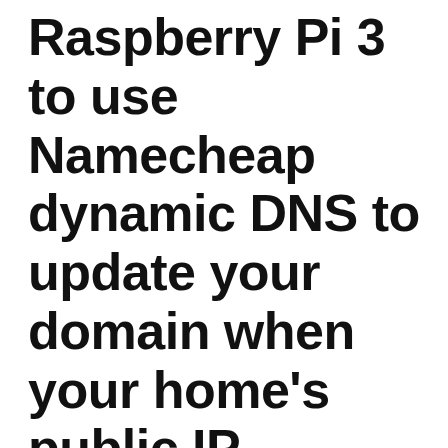Raspberry Pi 3 to use Namecheap dynamic DNS to update your domain when your home's public IP address changes
When you do not leave your modem and router on 24-7, chances are that your public IP address will change. As I had noted in how to host multiple website at home, a public IP address is needed for HTTP clients to reach your HTTP servers at home.